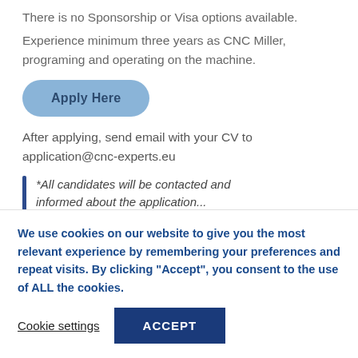There is no Sponsorship or Visa options available.
Experience minimum three years as CNC Miller, programing and operating on the machine.
Apply Here
After applying, send email with your CV to application@cnc-experts.eu
*All candidates will be contacted and informed about the application...
We use cookies on our website to give you the most relevant experience by remembering your preferences and repeat visits. By clicking “Accept”, you consent to the use of ALL the cookies.
Cookie settings
ACCEPT